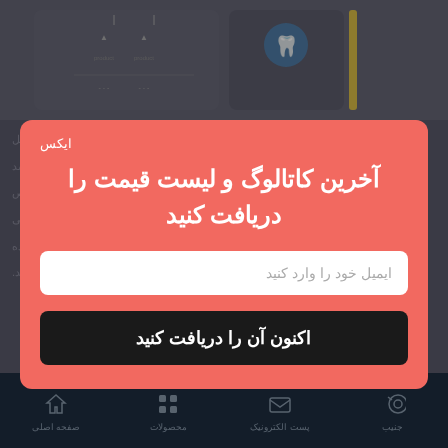[Figure (screenshot): Background dimmed mobile app page with product cards at top and Persian text content below, with a 'more information' button]
آخرین کاتالوگ و لیست قیمت را دریافت کنید
ایمیل خود را وارد کنید
اکنون آن را دریافت کنید
ایکس
اطلاعات بیشتر
صفحه اصلی | محصولات | پست الکترونیک | جنیب